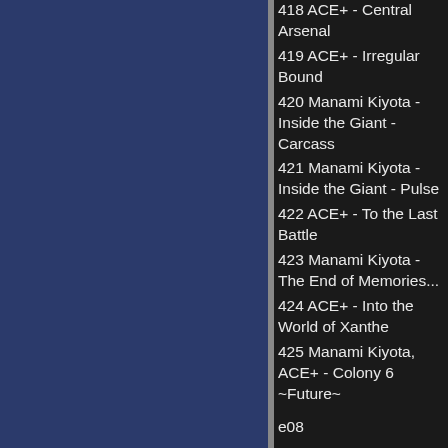418 ACE+ - Central Arsenal
419 ACE+ - Irregular Bound
420 Manami Kiyota - Inside the Giant - Carcass
421 Manami Kiyota - Inside the Giant - Pulse
422 ACE+ - To the Last Battle
423 Manami Kiyota - The End of Memories...
424 ACE+ - Into the World of Xanthe
425 Manami Kiyota, ACE+ - Colony 6 ~Future~
e08
e23_v2_loop